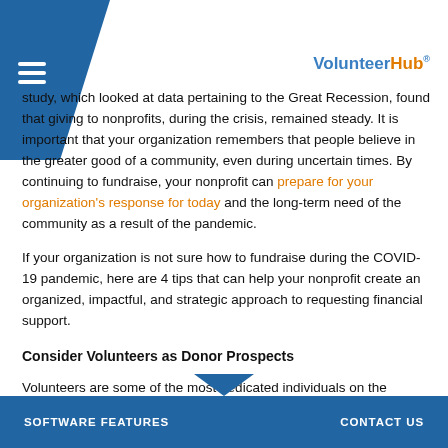VolunteerHub
study, which looked at data pertaining to the Great Recession, found that giving to nonprofits, during the crisis, remained steady. It is important that your organization remembers that people believe in the greater good of a community, even during uncertain times. By continuing to fundraise, your nonprofit can prepare for your organization's response for today and the long-term need of the community as a result of the pandemic.
If your organization is not sure how to fundraise during the COVID-19 pandemic, here are 4 tips that can help your nonprofit create an organized, impactful, and strategic approach to requesting financial support.
Consider Volunteers as Donor Prospects
Volunteers are some of the most dedicated individuals on the planet. They want to see your organization succeed, reach goals, and continue to fulfill the mission, even in times of uncertainty. Many volunteers have a personal connection with the mission of the organization they are providing their time
SOFTWARE FEATURES    CONTACT US